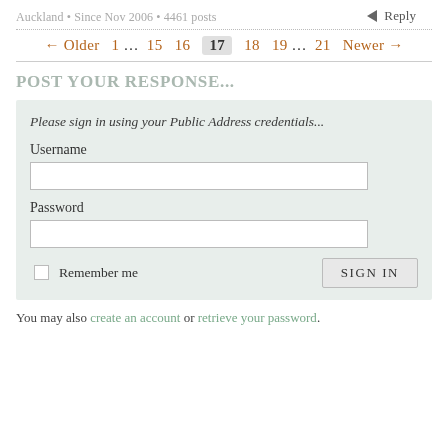Auckland • Since Nov 2006 • 4461 posts
← Reply
← Older  1 … 15  16  17  18  19 … 21  Newer →
POST YOUR RESPONSE...
Please sign in using your Public Address credentials...
Username
Password
Remember me  SIGN IN
You may also create an account or retrieve your password.